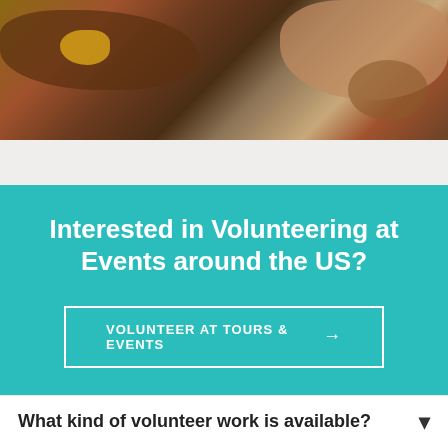[Figure (photo): Partial view of a nature/outdoor scene with brown earthy tones and a yellow element visible, likely composting or garden material]
Interested in Volunteering at Events around the US?
VOLUNTEER AT TOURS & EVENTS →
What kind of volunteer work is available? ↓